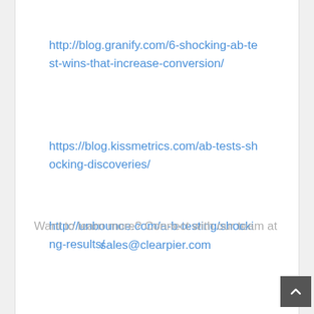http://blog.granify.com/6-shocking-ab-test-wins-that-increase-conversion/
https://blog.kissmetrics.com/ab-tests-shocking-discoveries/
http://unbounce.com/a-b-testing/shocking-results/
Want to learn more? Connect with our team at sales@clearpier.com